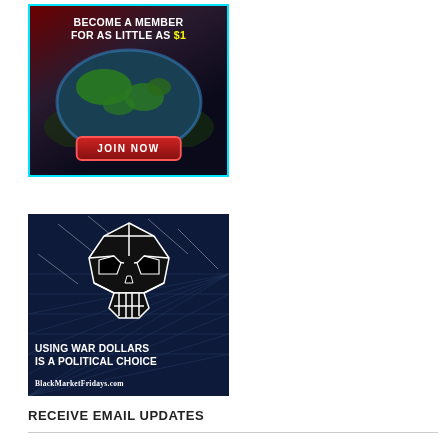[Figure (illustration): Advertisement banner with globe image and text 'BECOME A MEMBER FOR AS LITTLE AS $1' with a red JOIN NOW button, cyan border]
[Figure (illustration): Advertisement banner with geometric skull image on dark navy grid background, text 'USING WAR DOLLARS IS A POLITICAL CHOICE' and 'BlackMarketFridays.com']
RECEIVE EMAIL UPDATES